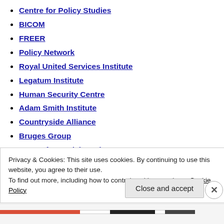Centre for Policy Studies
BICOM
FREER
Policy Network
Royal United Services Institute
Legatum Institute
Human Security Centre
Adam Smith Institute
Countryside Alliance
Bruges Group
Centre for Social Justice
Tax-Payers' Alliance
Progress Online
Henry Jackson Society
Privacy & Cookies: This site uses cookies. By continuing to use this website, you agree to their use.
To find out more, including how to control cookies, see here: Cookie Policy